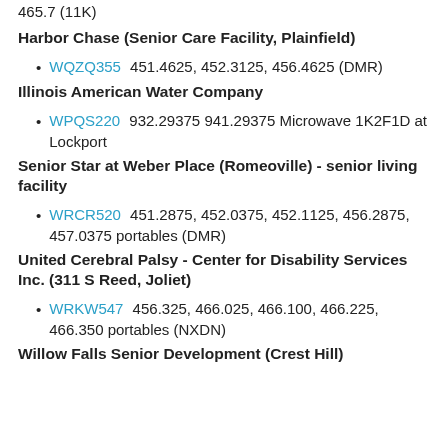465.7 (11K)
Harbor Chase (Senior Care Facility, Plainfield)
WQZQ355 451.4625, 452.3125, 456.4625 (DMR)
Illinois American Water Company
WPQS220 932.29375 941.29375 Microwave 1K2F1D at Lockport
Senior Star at Weber Place (Romeoville) - senior living facility
WRCR520 451.2875, 452.0375, 452.1125, 456.2875, 457.0375 portables (DMR)
United Cerebral Palsy - Center for Disability Services Inc. (311 S Reed, Joliet)
WRKW547 456.325, 466.025, 466.100, 466.225, 466.350 portables (NXDN)
Willow Falls Senior Development (Crest Hill)